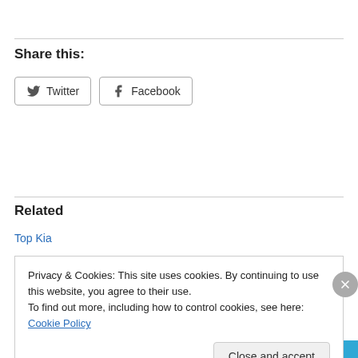Share this:
[Figure (other): Twitter and Facebook share buttons]
Related
Top Kia
Privacy & Cookies: This site uses cookies. By continuing to use this website, you agree to their use.
To find out more, including how to control cookies, see here: Cookie Policy
Close and accept